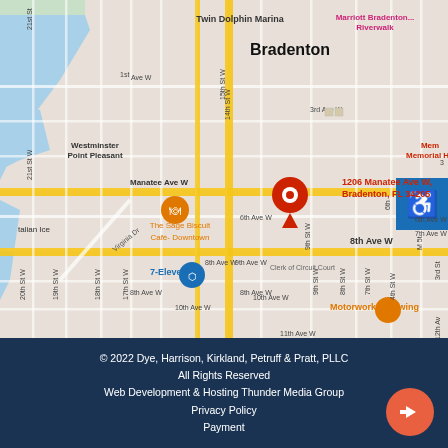[Figure (map): Google Maps screenshot showing downtown Bradenton, FL area centered on 1206 Manatee Ave W, Bradenton, FL 34205. Map shows street grid with major roads including Manatee Ave W, 8th Ave W highlighted in yellow, and numbered streets. Notable landmarks labeled include Twin Dolphin Marina, Marriott Bradenton Riverwalk, Westminster Point Pleasant, The Sage Biscuit Cafe Downtown, 7-Eleven, Motorworks Brewing, Village of the Arts, Memorial Hospital, and Team Success School of Excellence. A red location pin marks 1206 Manatee Ave W, Bradenton FL 34205.]
© 2022 Dye, Harrison, Kirkland, Petruff & Pratt, PLLC
All Rights Reserved
Web Development & Hosting Thunder Media Group
Privacy Policy
Payment